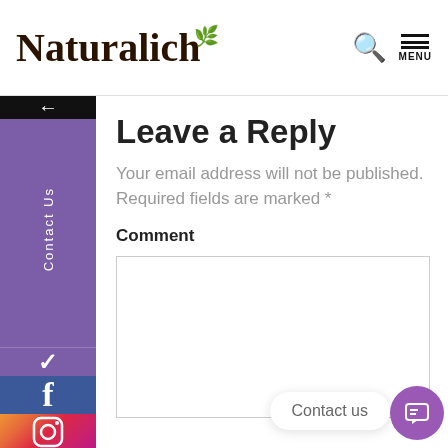[Figure (logo): Naturalich brand logo with cursive text and green leaf accent]
Leave a Reply
Your email address will not be published. Required fields are marked *
Comment
[Figure (screenshot): Empty comment textarea input field with border]
Contact us